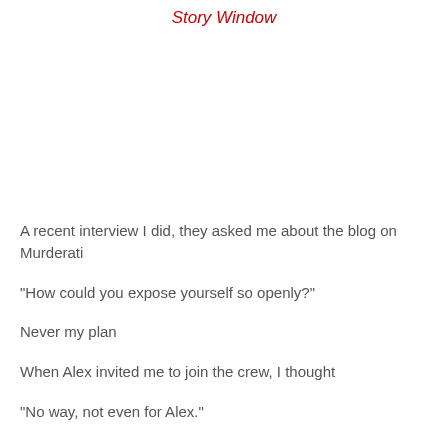Story Window
A recent interview I did, they asked me about the blog on Murderati
“How could you expose yourself so openly?”
Never my plan
When Alex invited me to join the crew, I thought
“No way, not even for Alex.”